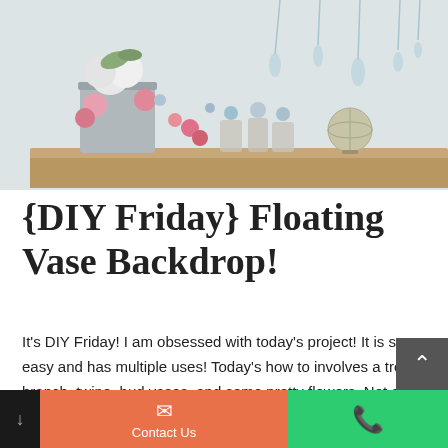[Figure (photo): A decorative floral arrangement on a wooden table with pink and white flowers in a metal bucket, small mercury glass vases, a globe, and hanging glass vases in the background against a white wall.]
{DIY Friday} Floating Vase Backdrop!
It's DIY Friday! I am obsessed with today's project! It is so easy and has multiple uses! Today's how to involves a tree branch, twine, bud vases, and some pretty flowers. Not only can this make a great ceremony backdrop, but this can be used as decor in your home post wedding!
Contact Us | Phone